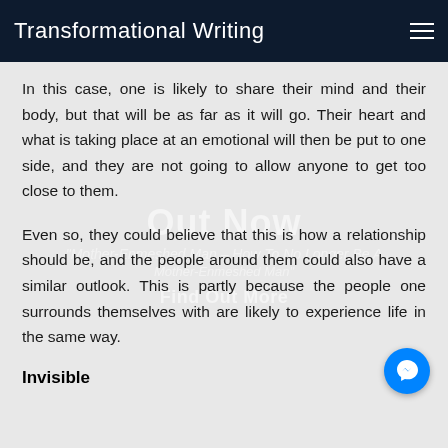Transformational Writing
In this case, one is likely to share their mind and their body, but that will be as far as it will go. Their heart and what is taking place at an emotional will then be put to one side, and they are not going to allow anyone to get too close to them.
Even so, they could believe that this is how a relationship should be, and the people around them could also have a similar outlook. This is partly because the people one surrounds themselves with are likely to experience life in the same way.
Invisible